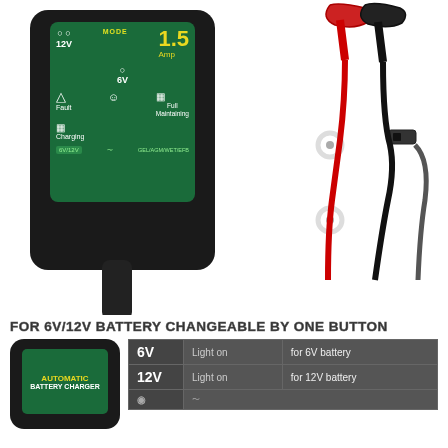[Figure (photo): Product photo of a black battery charger with green LED display panel showing 6V/12V mode selector, 1.5 Amp reading, Fault indicator, Full Maintaining mode, and Charging mode. Battery clamps (red and black), ring terminals, and SAE connector cables are shown to the right.]
FOR 6V/12V BATTERY CHANGEABLE BY ONE BUTTON
[Figure (photo): Small photo of the battery charger showing AUTOMATIC BATTERY CHARGER text on green screen]
| Voltage | Status | Description |
| --- | --- | --- |
| 6V | Light on | for 6V battery |
| 12V | Light on | for 12V battery |
|  |  |  |